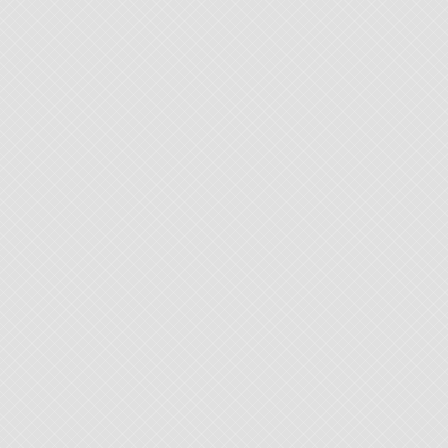[Figure (other): Gray textured background panel on the left side of the page]
(Recipe, Co...
Related a...
~ When in Rome, st... with: Buc... all'Amatri... ~
~ My E-Z Creamy-Dreamy F... French Omelette...
Posted by Ki... European & ... Alert!!! Can b...
[Figure (other): Pinterest Save button (red)]
Technorati Ta... chicken, Italia... dishes